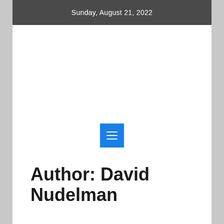Sunday, August 21, 2022
[Figure (other): Advertisement or banner placeholder area (white rectangle)]
[Figure (other): Navigation bar with blue hamburger menu button icon (three horizontal white lines on blue square background)]
Author: David Nudelman